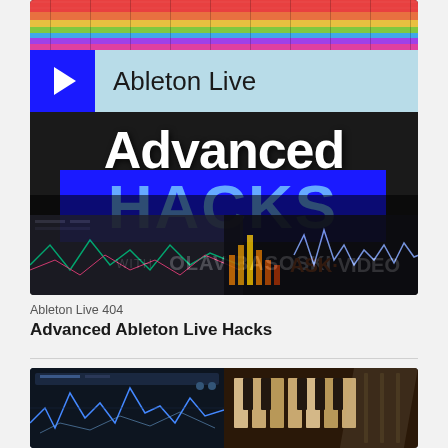[Figure (screenshot): Thumbnail for Ableton Live 404 course showing 'Advanced HACKS with Olav Basoski' course card with spectrum analyzer, play button, blue banner, ASK VIDEO logo]
Ableton Live 404
Advanced Ableton Live Hacks
[Figure (screenshot): Partial thumbnail of a second course card showing what appears to be a DAW/synthesizer interface split into two panels]